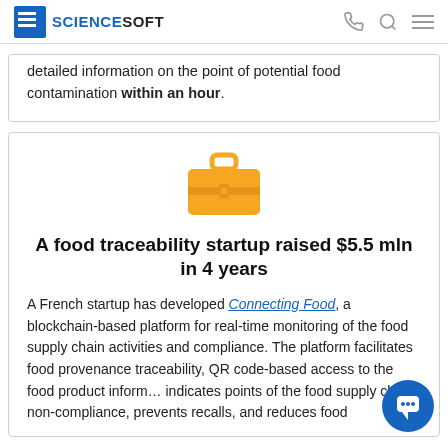ScienceSoft
detailed information on the point of potential food contamination within an hour.
[Figure (illustration): Orange briefcase icon]
A food traceability startup raised $5.5 mln in 4 years
A French startup has developed Connecting Food, a blockchain-based platform for real-time monitoring of the food supply chain activities and compliance. The platform facilitates food provenance traceability, QR code-based access to the food product information, indicates points of the food supply chain non-compliance, prevents recalls, and reduces food...